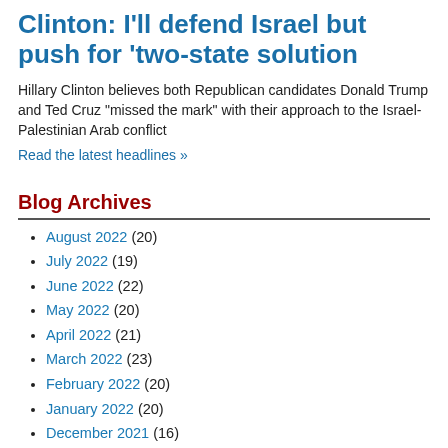Clinton: I'll defend Israel but push for 'two-state solution
Hillary Clinton believes both Republican candidates Donald Trump and Ted Cruz "missed the mark" with their approach to the Israel-Palestinian Arab conflict
Read the latest headlines »
Blog Archives
August 2022 (20)
July 2022 (19)
June 2022 (22)
May 2022 (20)
April 2022 (21)
March 2022 (23)
February 2022 (20)
January 2022 (20)
December 2021 (16)
November 2021 (19)
October 2021 (22)
September 2021 (20)